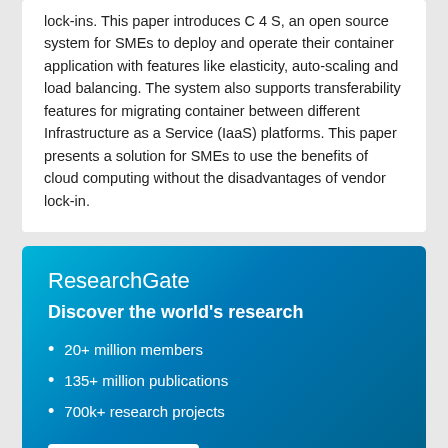lock-ins. This paper introduces C 4 S, an open source system for SMEs to deploy and operate their container application with features like elasticity, auto-scaling and load balancing. The system also supports transferability features for migrating container between different Infrastructure as a Service (IaaS) platforms. This paper presents a solution for SMEs to use the benefits of cloud computing without the disadvantages of vendor lock-in.
ResearchGate
Discover the world's research
20+ million members
135+ million publications
700k+ research projects
Join for free